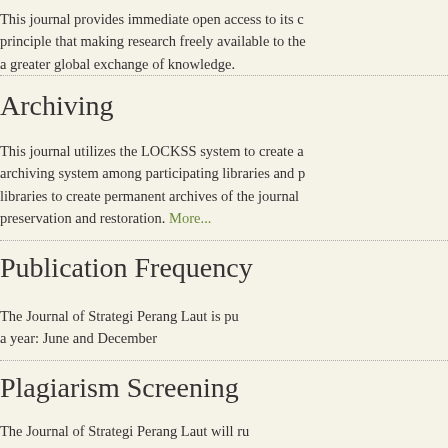This journal provides immediate open access to its content on the principle that making research freely available to the public supports a greater global exchange of knowledge.
Archiving
This journal utilizes the LOCKSS system to create a distributed archiving system among participating libraries and permits those libraries to create permanent archives of the journal for purposes of preservation and restoration. More...
Publication Frequency
The Journal of Strategi Perang Laut is published twice a year: June and December
Plagiarism Screening
The Journal of Strategi Perang Laut will run similarity checks using Turnitin as a tool in plagiarism checking for the submitted manuscripts before sending them to reviewers. We do not process any plagiarism below. If a manuscript has over 20% plagiarism based on the result of the Turnitin check, we will send the manuscript to the author to be revised for the plagiarised contents. If you come across...